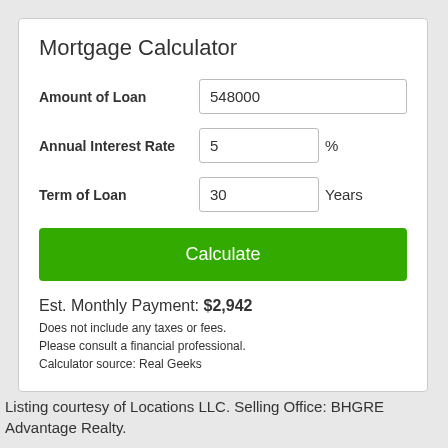Mortgage Calculator
Amount of Loan: 548000
Annual Interest Rate: 5 %
Term of Loan: 30 Years
Calculate
Est. Monthly Payment: $2,942
Does not include any taxes or fees.
Please consult a financial professional.
Calculator source: Real Geeks
Listing courtesy of Locations LLC. Selling Office: BHGRE Advantage Realty.